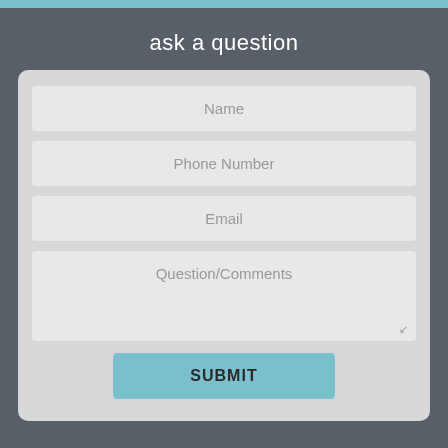ask a question
[Figure (screenshot): A web form with fields for Name, Phone Number, Email, Question/Comments, and a Submit button on a dark gray background with a teal top bar.]